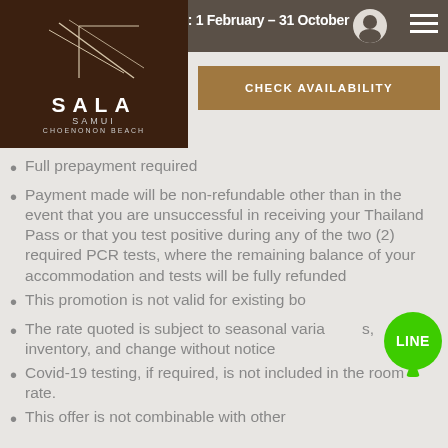Period: 1 February – 31 October
[Figure (logo): SALA Samui Choenonon Beach hotel logo on dark brown background with decorative line art]
CHECK AVAILABILITY
Full prepayment required
Payment made will be non-refundable other than in the event that you are unsuccessful in receiving your Thailand Pass or that you test positive during any of the two (2) required PCR tests, where the remaining balance of your accommodation and tests will be fully refunded
This promotion is not valid for existing bo...
The rate quoted is subject to seasonal variations, inventory, and change without notice
Covid-19 testing, if required, is not included in the room rate.
This offer is not combinable with other...